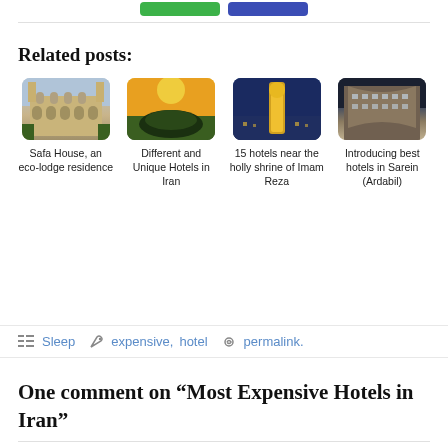[Figure (screenshot): Top bar with green and blue buttons]
Related posts:
[Figure (photo): Safa House, an eco-lodge residence - historic building with arched facade]
Safa House, an eco-lodge residence
[Figure (photo): Different and Unique Hotels in Iran - aerial view with sunset]
Different and Unique Hotels in Iran
[Figure (photo): 15 hotels near the holly shrine of Imam Reza - illuminated tower at night]
15 hotels near the holly shrine of Imam Reza
[Figure (photo): Introducing best hotels in Sarein (Ardabil) - modern hotel exterior]
Introducing best hotels in Sarein (Ardabil)
Sleep   expensive, hotel   permalink.
One comment on “Most Expensive Hotels in Iran”